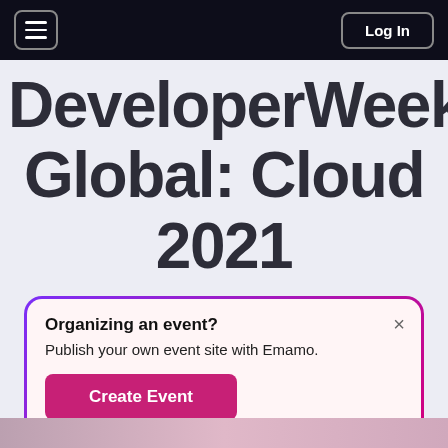☰  Log In
DeveloperWeek Global: Cloud 2021
Organizing an event?
Publish your own event site with Emamo.
Create Event